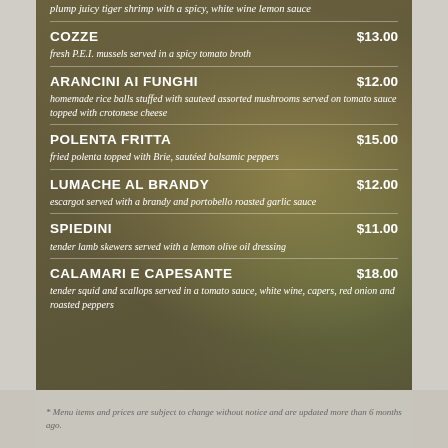plump juicy tiger shrimp with a spicy, white wine lemon sauce
COZZE — $13.00 — fresh P.E.I. mussels served in a spicy tomato broth
ARANCINI AI FUNGHI — $12.00 — homemade rice balls stuffed with sauteed assorted mushrooms served on tomato sauce topped with crotonese cheese
POLENTA FRITTA — $15.00 — fried polenta topped with Brie, sautéed balsamic peppers
LUMACHE AL BRANDY — $12.00 — escargot served with a brandy and portobello roasted garlic sauce
SPIEDINI — $11.00 — tender lamb skewers served with a lemon olive oil dressing
CALAMARI E CAPESANTE — $18.00 — tender squid and scallops served in a tomato sauce, white wine, capers, red onion and roasted peppers
* Menu items and prices are subject to change without notice and are updated more than 6 months ago.